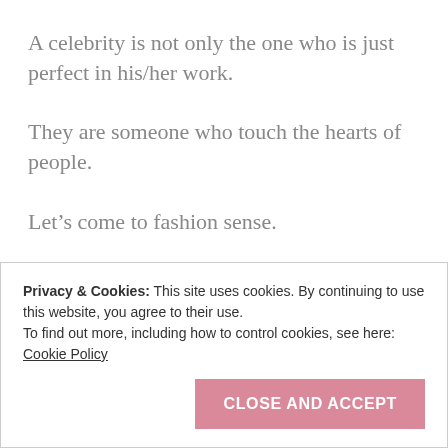A celebrity is not only the one who is just perfect in his/her work.
They are someone who touch the hearts of people.
Let’s come to fashion sense.
She has a great fashion sense.
Privacy & Cookies: This site uses cookies. By continuing to use this website, you agree to their use.
To find out more, including how to control cookies, see here: Cookie Policy
CLOSE AND ACCEPT
Let’s have a look –